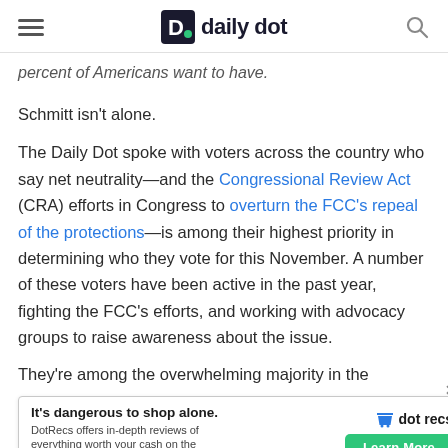daily dot
percent of Americans want to have.
Schmitt isn't alone.
The Daily Dot spoke with voters across the country who say net neutrality—and the Congressional Review Act (CRA) efforts in Congress to overturn the FCC's repeal of the protections—is among their highest priority in determining who they vote for this November. A number of these voters have been active in the past year, fighting the FCC's efforts, and working with advocacy groups to raise awareness about the issue.
They're among the overwhelming majority in the
[Figure (other): Advertisement banner for DotRecs: 'It's dangerous to shop alone. DotRecs offers in-depth reviews of everything worth your cash on the internets.' with a Learn More button and close (X) button.]
otections. Ipsos in February